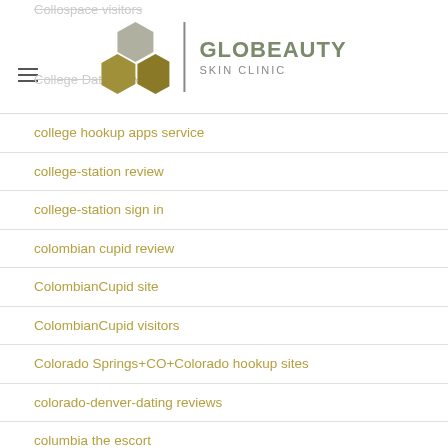Collospace visitors | College Dating reviews | GLOBEAUTY SKIN CLINIC
college hookup apps service
college-station review
college-station sign in
colombian cupid review
ColombianCupid site
ColombianCupid visitors
Colorado Springs+CO+Colorado hookup sites
colorado-denver-dating reviews
columbia the escort
columbia-1 reviews
Columbia+MO+Missouri hookup sites